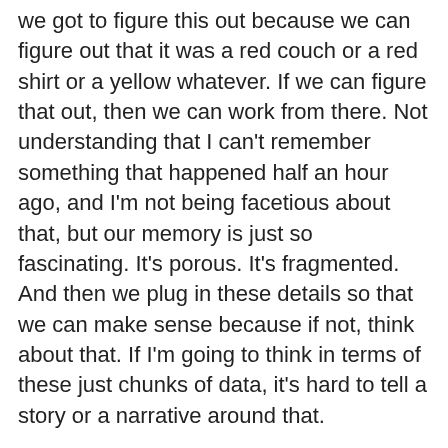we got to figure this out because we can figure out that it was a red couch or a red shirt or a yellow whatever. If we can figure that out, then we can work from there. Not understanding that I can't remember something that happened half an hour ago, and I'm not being facetious about that, but our memory is just so fascinating. It's porous. It's fragmented. And then we plug in these details so that we can make sense because if not, think about that. If I'm going to think in terms of these just chunks of data, it's hard to tell a story or a narrative around that.
[00:03:39] And honestly, that's why when I talk about my four pillars of a connected conversation, my pillar one assuming good intentions or there's a reason why somebody is saying or doing the things they're doing. But my pillar two is this mindset shift, this vibe of where I can't put out the message of I disagree or you're wrong. Even even if I have the absolute data that backs up the fact that